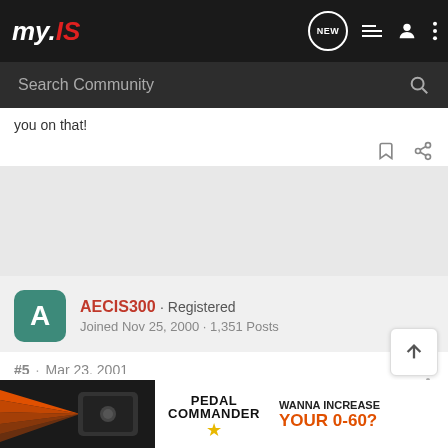my.IS - community forum navigation bar
Search Community
you on that!
AECIS300 · Registered
Joined Nov 25, 2000 · 1,351 Posts
#5 · Mar 23, 2001
Oooooo
I like. I l
[Figure (screenshot): Pedal Commander advertisement banner at the bottom of the page showing orange and black graphic, Pedal Commander logo with star, and text WANNA INCREASE YOUR 0-60?]